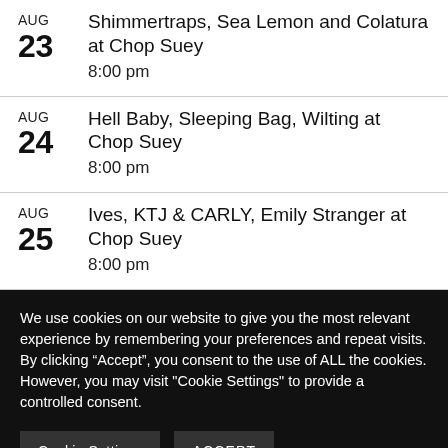AUG 23 Shimmertraps, Sea Lemon and Colatura at Chop Suey 8:00 pm
AUG 24 Hell Baby, Sleeping Bag, Wilting at Chop Suey 8:00 pm
AUG 25 Ives, KTJ & CARLY, Emily Stranger at Chop Suey 8:00 pm
We use cookies on our website to give you the most relevant experience by remembering your preferences and repeat visits. By clicking “Accept”, you consent to the use of ALL the cookies. However, you may visit "Cookie Settings" to provide a controlled consent.